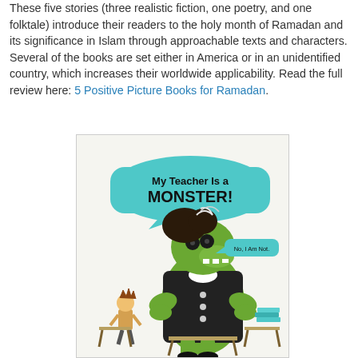These five stories (three realistic fiction, one poetry, and one folktale) introduce their readers to the holy month of Ramadan and its significance in Islam through approachable texts and characters. Several of the books are set either in America or in an unidentified country, which increases their worldwide applicability. Read the full review here: 5 Positive Picture Books for Ramadan.
[Figure (illustration): Book cover of 'My Teacher Is a MONSTER!' showing a large green monster-like teacher in a black dress with curly hair, standing with hands on hips. A small boy stands nearby at a desk. A teal speech bubble says 'My Teacher Is a MONSTER!' and a smaller speech bubble from the monster says 'No, I Am Not.' School desks and a stack of books are visible.]